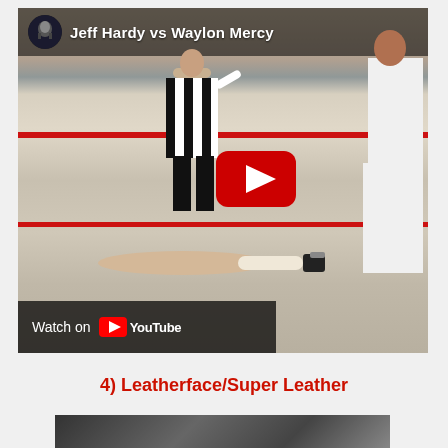[Figure (screenshot): YouTube video thumbnail showing a wrestling match between Jeff Hardy and Waylon Mercy. A referee in black and white striped shirt stands over a wrestler lying on the mat. Another wrestler in white stands to the right. Red wrestling ropes are visible. The YouTube play button is shown in the center-right. A 'Watch on YouTube' bar appears at the bottom-left. The video title bar reads 'Jeff Hardy vs Waylon Mercy' with a user avatar.]
4) Leatherface/Super Leather
[Figure (screenshot): Partial view of another video thumbnail at the bottom of the page, partially cut off.]